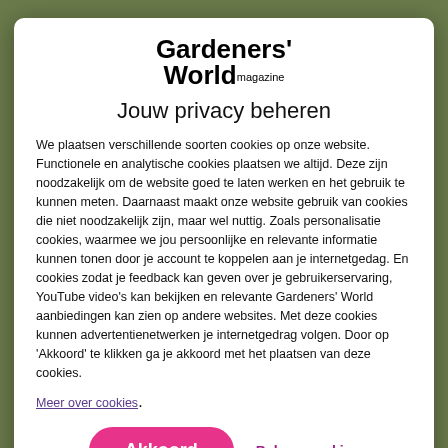[Figure (logo): Gardeners' World magazine logo — bold black text stacked: 'Gardeners' World' large with 'magazine' smaller inline]
Jouw privacy beheren
We plaatsen verschillende soorten cookies op onze website. Functionele en analytische cookies plaatsen we altijd. Deze zijn noodzakelijk om de website goed te laten werken en het gebruik te kunnen meten. Daarnaast maakt onze website gebruik van cookies die niet noodzakelijk zijn, maar wel nuttig. Zoals personalisatie cookies, waarmee we jou persoonlijke en relevante informatie kunnen tonen door je account te koppelen aan je internetgedag. En cookies zodat je feedback kan geven over je gebruikerservaring, YouTube video's kan bekijken en relevante Gardeners' World aanbiedingen kan zien op andere websites. Met deze cookies kunnen advertentienetwerken je internetgedrag volgen. Door op 'Akkoord' te klikken ga je akkoord met het plaatsen van deze cookies.
Meer over cookies.
Akkoord   Beheer cookies